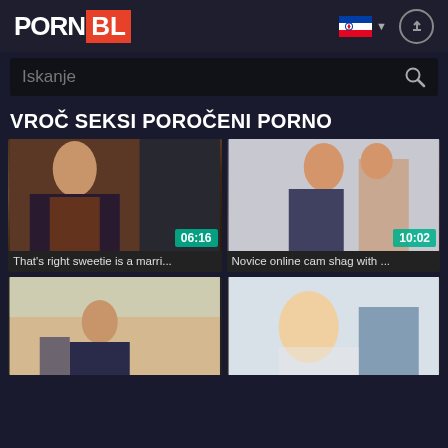[Figure (screenshot): Website header with PORNBL logo, Slovenian flag dropdown, and upload icon]
Iskanje
VROČ SEKSI POROČENI PORNO
[Figure (photo): Video thumbnail 1 with duration 06:16]
That's right sweetie is a marri...
[Figure (photo): Video thumbnail 2 with duration 10:02]
Novice online cam shag with ...
[Figure (photo): Video thumbnail 3 - partial, bottom row left]
[Figure (photo): Video thumbnail 4 - partial, bottom row right]